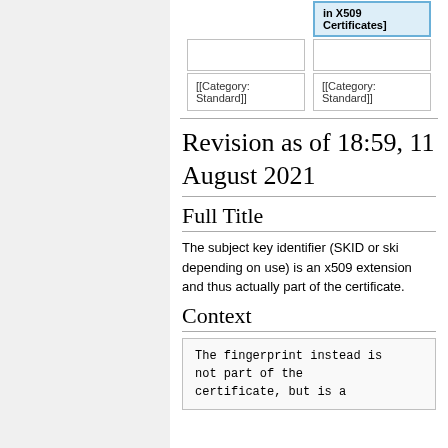| in X509 Certificates] |  |
|  |  |
| [[Category: Standard]] | [[Category: Standard]] |
Revision as of 18:59, 11 August 2021
Full Title
The subject key identifier (SKID or ski depending on use) is an x509 extension and thus actually part of the certificate.
Context
The fingerprint instead is not part of the certificate, but is a...